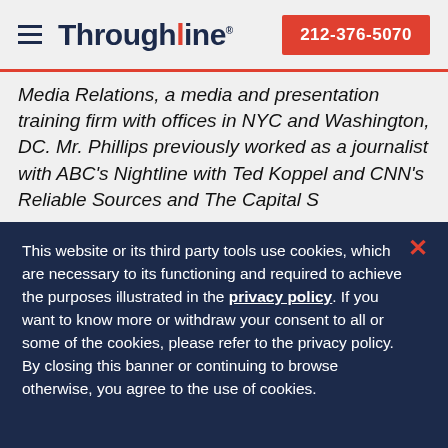Throughline | 212-376-5070
Media Relations, a media and presentation training firm with offices in NYC and Washington, DC. Mr. Phillips previously worked as a journalist with ABC's Nightline with Ted Koppel and CNN's Reliable Sources and The Capital S...
This website or its third party tools use cookies, which are necessary to its functioning and required to achieve the purposes illustrated in the privacy policy. If you want to know more or withdraw your consent to all or some of the cookies, please refer to the privacy policy. By closing this banner or continuing to browse otherwise, you agree to the use of cookies.